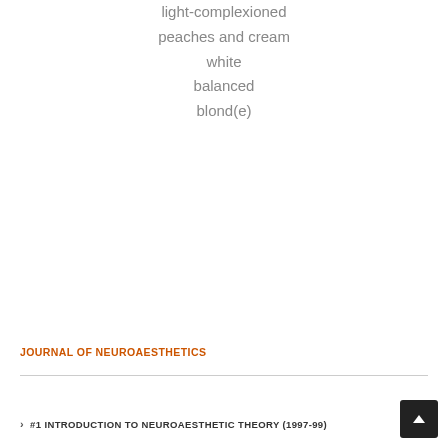light-complexioned
peaches and cream
white
balanced
blond(e)
JOURNAL OF NEUROAESTHETICS
> #1 INTRODUCTION TO NEUROAESTHETIC THEORY (1997-99)